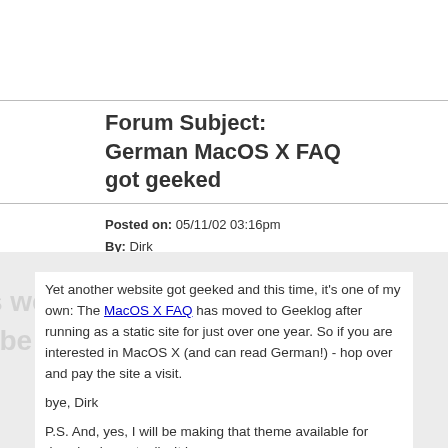Forum Subject: German MacOS X FAQ got geeked
Posted on: 05/11/02 03:16pm
By: Dirk
Yet another website got geeked and this time, it's one of my own: The MacOS X FAQ has moved to Geeklog after running as a static site for just over one year. So if you are interested in MacOS X (and can read German!) - hop over and pay the site a visit.

bye, Dirk

P.S. And, yes, I will be making that theme available for download eventually. It is.